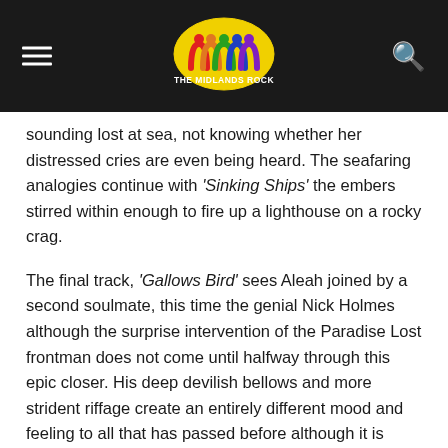THE MIDLANDS ROCK (logo)
sounding lost at sea, not knowing whether her distressed cries are even being heard. The seafaring analogies continue with ‘Sinking Ships’ the embers stirred within enough to fire up a lighthouse on a rocky crag.
The final track, ‘Gallows Bird’ sees Aleah joined by a second soulmate, this time the genial Nick Holmes although the surprise intervention of the Paradise Lost frontman does not come until halfway through this epic closer. His deep devilish bellows and more strident riffage create an entirely different mood and feeling to all that has passed before although it is Aleah who of course has the last word, and that is only right. It’s testament to the strength of this album that Aleah’s name will long be remembered by all with a love for melancholic songs that move you to your very bones.